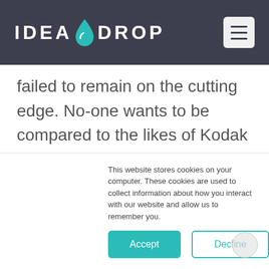[Figure (logo): Idea Drop logo with teal water drop icon and white text on dark background, with hamburger menu icon on the right]
failed to remain on the cutting edge. No-one wants to be compared to the likes of Kodak or Blockbuster, consigned to public memory as casualties of the ‘innovation wars.’
This website stores cookies on your computer. These cookies are used to collect information about how you interact with our website and allow us to remember you.